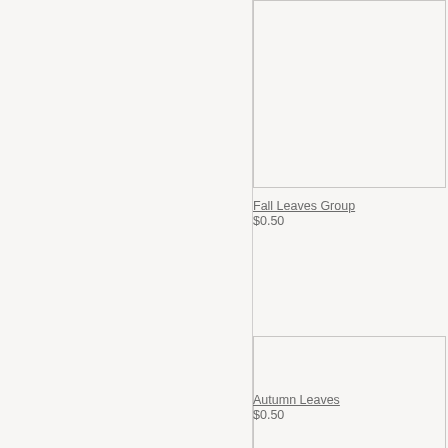[Figure (photo): Product image placeholder for Fall Leaves Group, partially visible at top of right column]
Fall Leaves Group
$0.50
[Figure (photo): Product image placeholder for Autumn Leaves, large image in right column]
Autumn Leaves
$0.50